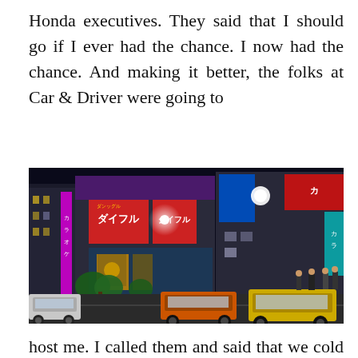Honda executives. They said that I should go if I ever had the chance. I now had the chance. And making it better, the folks at Car & Driver were going to
[Figure (photo): Night street scene in a Japanese city (likely Tokyo), showing brightly lit commercial buildings with neon signs in Japanese, a row of taxis parked along the street, and pedestrians on the sidewalk.]
host me. I called them and said that we cold meet there at 8:00. The cab driver dropped me off in front of a tall, narrow building. Fortunately, I found the words Club M...